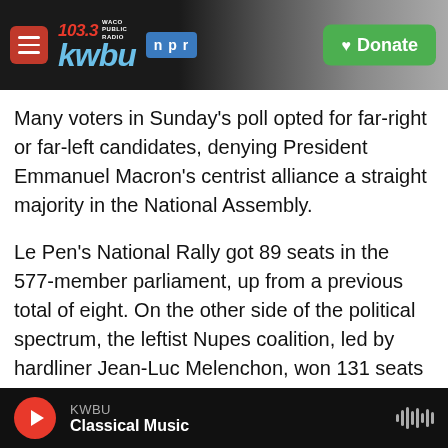[Figure (screenshot): KWBU 103.3 NPR radio station header with logo, hamburger menu, building photo background, and green Donate button]
Many voters in Sunday's poll opted for far-right or far-left candidates, denying President Emmanuel Macron's centrist alliance a straight majority in the National Assembly.
Le Pen's National Rally got 89 seats in the 577-member parliament, up from a previous total of eight. On the other side of the political spectrum, the leftist Nupes coalition, led by hardliner Jean-Luc Melenchon, won 131 seats to become the main opposition force.
Macron's centrist alliance Together! won the most
KWBU Classical Music